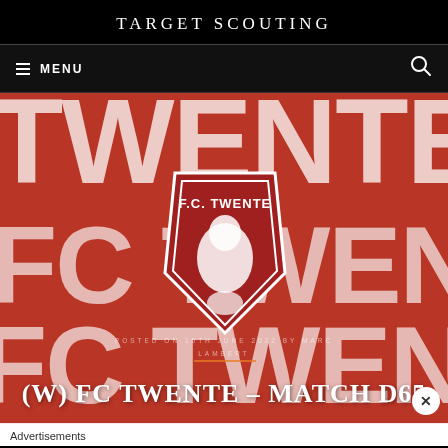TARGET SCOUTING
≡ MENU
[Figure (photo): FC Twente logo on a red background with white brushstroke 'TWENTE' text. The crest shows a horse with flames. Overlaid text reads: POSTED ON 16TH JUNE 2022 BY MARC LAMBERT]
(W) FC TWENTE – MATCH D65
Advertisements